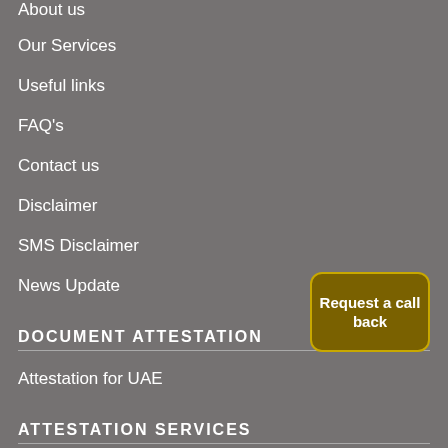About us
Our Services
Useful links
FAQ's
Contact us
Disclaimer
SMS Disclaimer
News Update
DOCUMENT ATTESTATION
[Figure (other): Request a call back button]
Attestation for UAE
ATTESTATION SERVICES